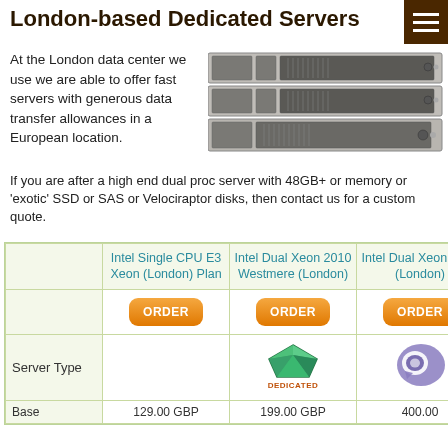London-based Dedicated Servers
At the London data center we use we are able to offer fast servers with generous data transfer allowances in a European location.
[Figure (photo): Photo of rack-mounted dedicated servers (Dell 1U/2U servers in a rack)]
If you are after a high end dual proc server with 48GB+ or memory or 'exotic' SSD or SAS or Velociraptor disks, then contact us for a custom quote.
|  | Intel Single CPU E3 Xeon (London) Plan | Intel Dual Xeon 2010 Westmere (London) | Intel Dual Xeon 2014 (London) |
| --- | --- | --- | --- |
|  | ORDER | ORDER | ORDER |
| Server Type |  | DEDICATED |  |
| Base | 129.00 GBP | 199.00 GBP | 400.00 |